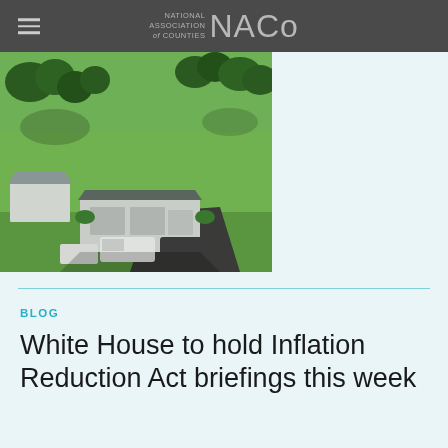NATIONAL ASSOCIATION of COUNTIES NACo
[Figure (photo): Aerial view of a rural property with green lawns, trees, a white garage/barn, a house, parked vehicles including a white van, and a dark driveway]
BLOG
White House to hold Inflation Reduction Act briefings this week